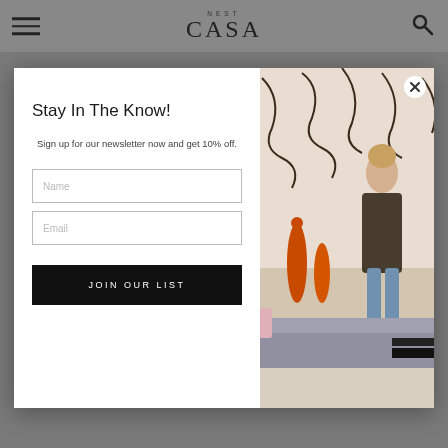NEST CASA
[Figure (screenshot): Newsletter signup modal popup over a home decor website. Left panel (white): heading 'Stay In The Know!', subtitle 'Sign up for our newsletter now and get 10% off.', Name input field, Email input field, 'JOIN OUR LIST' button. Right panel: photo of a blonde woman seated in a stylish interior with orange vases, patterned curtains, and a sofa. Close (X) button top-right of modal.]
Stay In The Know!
Sign up for our newsletter now and get 10% off.
JOIN OUR LIST